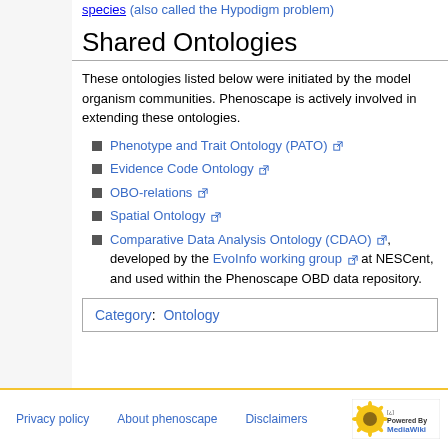species (also called the Hypodigm problem)
Shared Ontologies
These ontologies listed below were initiated by the model organism communities. Phenoscape is actively involved in extending these ontologies.
Phenotype and Trait Ontology (PATO)
Evidence Code Ontology
OBO-relations
Spatial Ontology
Comparative Data Analysis Ontology (CDAO), developed by the EvoInfo working group at NESCent, and used within the Phenoscape OBD data repository.
Category:  Ontology
Privacy policy   About phenoscape   Disclaimers